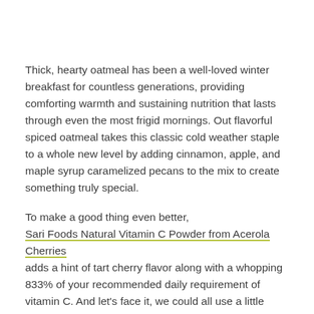Thick, hearty oatmeal has been a well-loved winter breakfast for countless generations, providing comforting warmth and sustaining nutrition that lasts through even the most frigid mornings. Out flavorful spiced oatmeal takes this classic cold weather staple to a whole new level by adding cinnamon, apple, and maple syrup caramelized pecans to the mix to create something truly special.
To make a good thing even better, Sari Foods Natural Vitamin C Powder from Acerola Cherries adds a hint of tart cherry flavor along with a whopping 833% of your recommended daily requirement of vitamin C. And let's face it, we could all use a little extra nutrition during the frosty winter months, especially when it smells and tastes so scrumptious.
Ingredients: